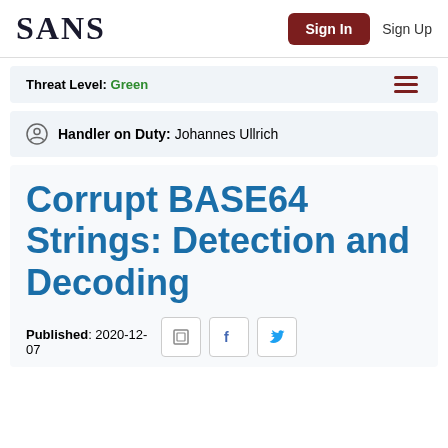SANS | Sign In | Sign Up
Threat Level: Green
Handler on Duty: Johannes Ullrich
Corrupt BASE64 Strings: Detection and Decoding
Published: 2020-12-07